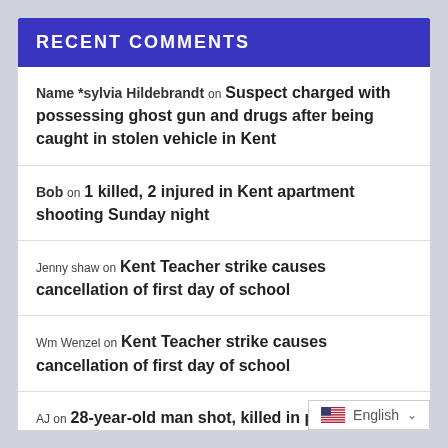RECENT COMMENTS
Name *sylvia Hildebrandt on Suspect charged with possessing ghost gun and drugs after being caught in stolen vehicle in Kent
Bob on 1 killed, 2 injured in Kent apartment shooting Sunday night
Jenny shaw on Kent Teacher strike causes cancellation of first day of school
Wm Wenzel on Kent Teacher strike causes cancellation of first day of school
AJ on 28-year-old man shot, killed in parking lot of apartment in Kent Friday night
English